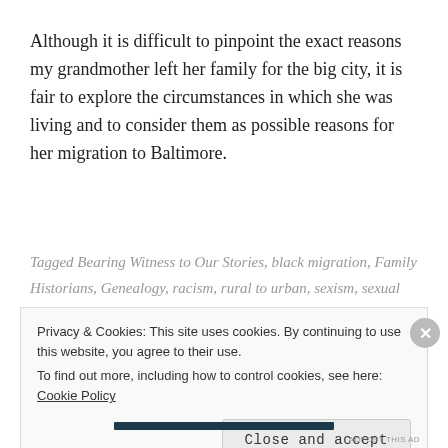Although it is difficult to pinpoint the exact reasons my grandmother left her family for the big city, it is fair to explore the circumstances in which she was living and to consider them as possible reasons for her migration to Baltimore.
Tagged Bearing Witness to Our Stories, black migration, Family Historians, Genealogy, racism, rural to urban, sexism, sexual assault, Storytelling
8 Comments
Privacy & Cookies: This site uses cookies. By continuing to use this website, you agree to their use. To find out more, including how to control cookies, see here: Cookie Policy
Close and accept